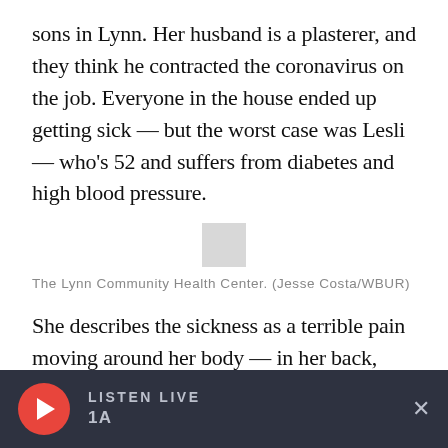sons in Lynn. Her husband is a plasterer, and they think he contracted the coronavirus on the job. Everyone in the house ended up getting sick — but the worst case was Lesli — who's 52 and suffers from diabetes and high blood pressure.
[Figure (photo): Small placeholder image thumbnail for The Lynn Community Health Center photo]
The Lynn Community Health Center. (Jesse Costa/WBUR)
She describes the sickness as a terrible pain moving around her body — in her back, then in her bones and in her head — fever, chills, exhaustion, diarrhea.
LISTEN LIVE 1A